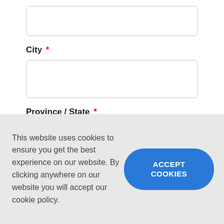City *
Province / State *
This website uses cookies to ensure you get the best experience on our website. By clicking anywhere on our website you will accept our cookie policy.
ACCEPT COOKIES